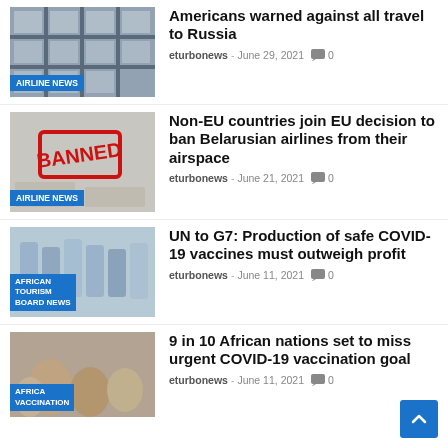[Figure (photo): Photo of building facade with grid windows, tagged AIRLINE NEWS]
Americans warned against all travel to Russia
eturbonews - June 29, 2021  0
[Figure (photo): Photo of BANNED stamp on documents, tagged AIRLINE NEWS]
Non-EU countries join EU decision to ban Belarusian airlines from their airspace
eturbonews - June 21, 2021  0
[Figure (photo): Photo of vaccine vials, tagged AFRICAN TOURISM BOARD NEWS]
UN to G7: Production of safe COVID-19 vaccines must outweigh profit
eturbonews - June 11, 2021  0
[Figure (photo): Photo of people, tagged AFRICA VACCINATION]
9 in 10 African nations set to miss urgent COVID-19 vaccination goal
eturbonews - June 11, 2021  0